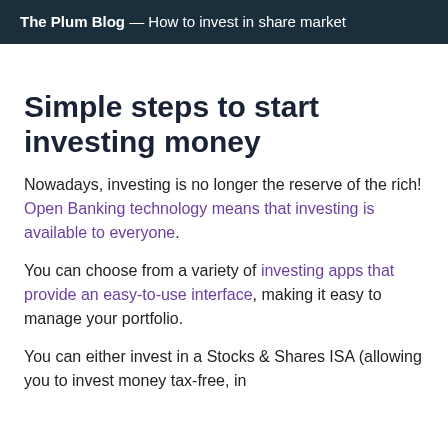The Plum Blog — How to invest in share market
Simple steps to start investing money
Nowadays, investing is no longer the reserve of the rich! Open Banking technology means that investing is available to everyone.
You can choose from a variety of investing apps that provide an easy-to-use interface, making it easy to manage your portfolio.
You can either invest in a Stocks & Shares ISA (allowing you to invest money tax-free, in